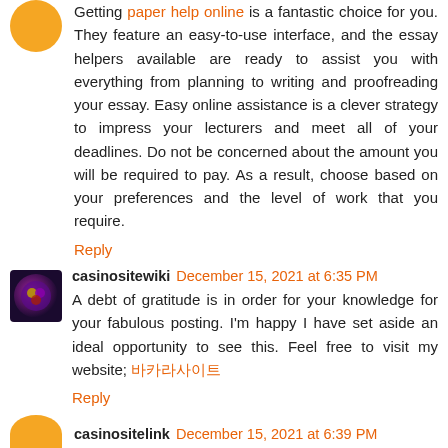Getting paper help online is a fantastic choice for you. They feature an easy-to-use interface, and the essay helpers available are ready to assist you with everything from planning to writing and proofreading your essay. Easy online assistance is a clever strategy to impress your lecturers and meet all of your deadlines. Do not be concerned about the amount you will be required to pay. As a result, choose based on your preferences and the level of work that you require.
Reply
casinositewiki December 15, 2021 at 6:35 PM
A debt of gratitude is in order for your knowledge for your fabulous posting. I'm happy I have set aside an ideal opportunity to see this. Feel free to visit my website; 바카라사이트
Reply
casinositelink December 15, 2021 at 6:39 PM